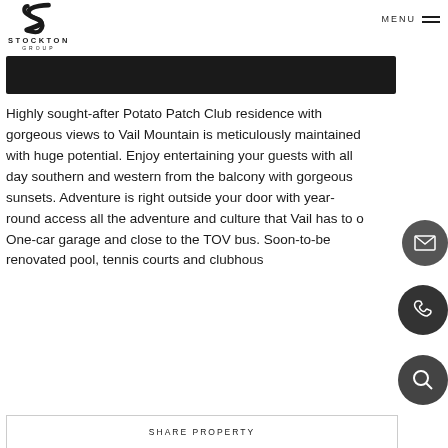STOCKTON GROUP — MENU
[Figure (logo): Stockton Group logo: stylized S letterform above the text STOCKTON GROUP]
[Figure (illustration): Dark/black banner bar across the page]
Highly sought-after Potato Patch Club residence with gorgeous views to Vail Mountain is meticulously maintained with huge potential. Enjoy entertaining your guests with all day southern and western from the balcony with gorgeous sunsets. Adventure is right outside your door with year-round access all the adventure and culture that Vail has to o One-car garage and close to the TOV bus. Soon-to-be renovated pool, tennis courts and clubhous
SHARE PROPERTY